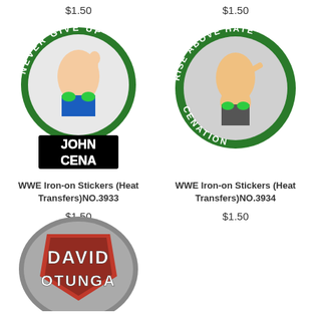$1.50
$1.50
[Figure (illustration): John Cena WWE Iron-on sticker with 'Never Give Up' circular green logo and John Cena text below]
[Figure (illustration): John Cena WWE Iron-on sticker with 'Rise Above Hate Cenation' circular green logo]
WWE Iron-on Stickers (Heat Transfers)NO.3933
WWE Iron-on Stickers (Heat Transfers)NO.3934
$1.50
$1.50
[Figure (illustration): David Otunga WWE Iron-on sticker with shield logo and 'David Otunga' text]